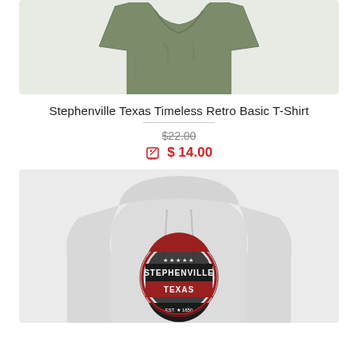[Figure (photo): Olive green basic t-shirt product photo, cropped showing upper portion]
Stephenville Texas Timeless Retro Basic T-Shirt
$22.00 (strikethrough original price)
$ 14.00 (sale price in red with sale tag icon)
[Figure (photo): Light gray hoodie sweatshirt with circular Stephenville Texas EST. 1850 retro graphic on chest]